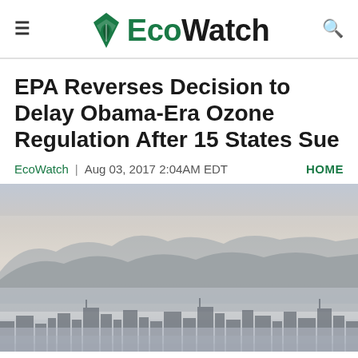EcoWatch
EPA Reverses Decision to Delay Obama-Era Ozone Regulation After 15 States Sue
EcoWatch | Aug 03, 2017 2:04AM EDT  HOME
[Figure (photo): Smoggy city skyline with mountains in the background, heavy haze visible over the urban area.]